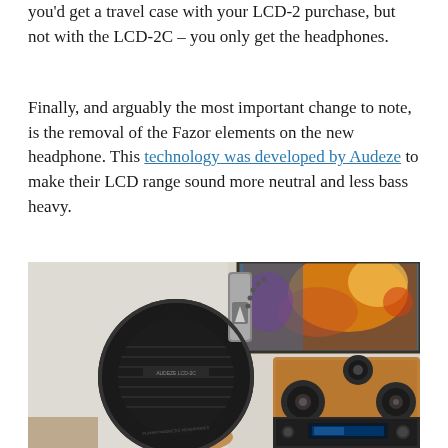you'd get a travel case with your LCD-2 purchase, but not with the LCD-2C – you only get the headphones.
Finally, and arguably the most important change to note, is the removal of the Fazor elements on the new headphone. This technology was developed by Audeze to make their LCD range sound more neutral and less bass heavy.
[Figure (photo): Photo of Audeze LCD-2C planar magnetic headphones held up in front of a bookshelf speaker and audio equipment, with a colorful painting visible in the background.]